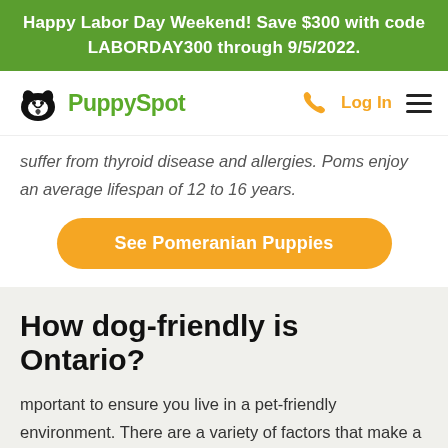Happy Labor Day Weekend! Save $300 with code LABORDAY300 through 9/5/2022.
[Figure (logo): PuppySpot logo with dog face icon and green text, with phone icon, Log In link, and hamburger menu on the right]
suffer from thyroid disease and allergies. Poms enjoy an average lifespan of 12 to 16 years.
See Pomeranian Puppies
How dog-friendly is Ontario?
mportant to ensure you live in a pet-friendly environment. There are a variety of factors that make a city pet-friendly. Dog-friendly businesses, access to dog parks and hiking trails, and rentals that allow dogs